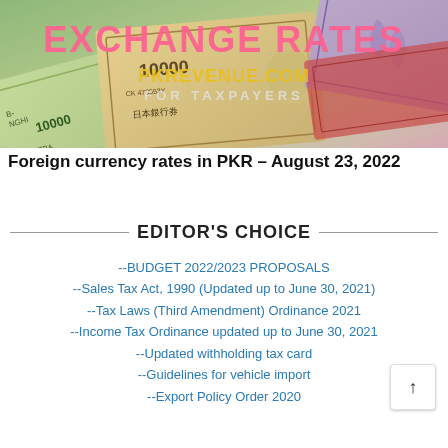[Figure (photo): Banner image showing various foreign currency banknotes including Japanese yen and Vietnamese dong, with overlaid text 'EXCHANGE RATES' in pink/red and 'PKREVENUE.COM' in yellow/gold, plus 'FOR TAXPAYERS' text]
Foreign currency rates in PKR – August 23, 2022
EDITOR'S CHOICE
--BUDGET 2022/2023 PROPOSALS
--Sales Tax Act, 1990 (Updated up to June 30, 2021)
--Tax Laws (Third Amendment) Ordinance 2021
--Income Tax Ordinance updated up to June 30, 2021
--Updated withholding tax card
--Guidelines for vehicle import
--Export Policy Order 2020